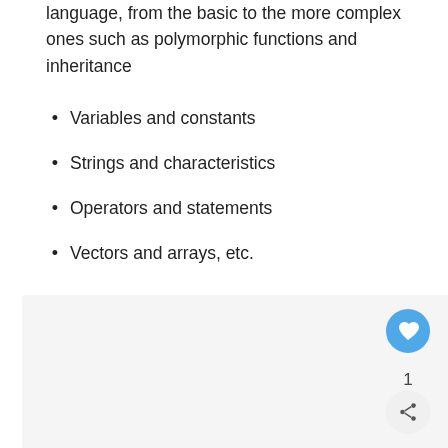language, from the basic to the more complex ones such as polymorphic functions and inheritance
Variables and constants
Strings and characteristics
Operators and statements
Vectors and arrays, etc.